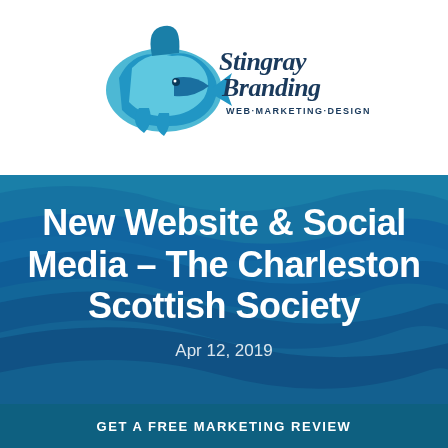[Figure (logo): Stingray Branding logo with blue shark/stingray graphic and text 'Stingray Branding WEB·MARKETING·DESIGN']
New Website & Social Media – The Charleston Scottish Society
Apr 12, 2019
GET A FREE MARKETING REVIEW